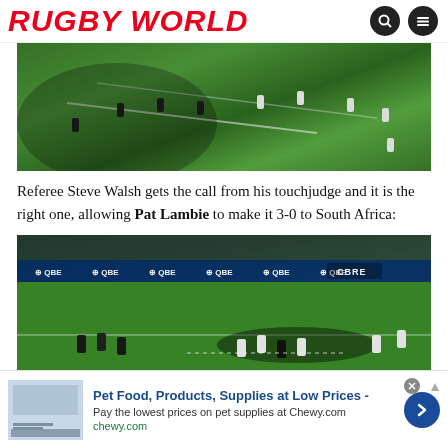RUGBY WORLD
[Figure (photo): Aerial view of a rugby match on a green pitch, players in white and dark jerseys spread across the field with white line markings visible]
Referee Steve Walsh gets the call from his touchjudge and it is the right one, allowing Pat Lambie to make it 3-0 to South Africa:
[Figure (photo): Close-up of a rugby match with QBE and CBRE advertising hoardings visible, players in a scrum/ruck situation on green pitch]
Pet Food, Products, Supplies at Low Prices - Pay the lowest prices on pet supplies at Chewy.com chewy.com